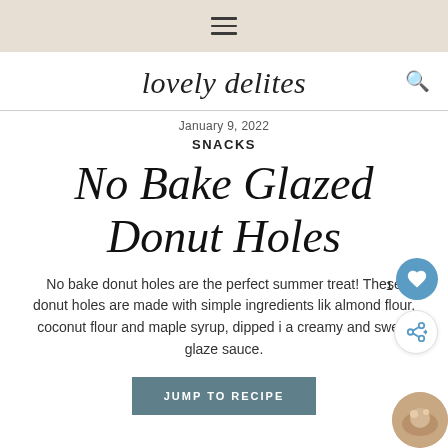≡ (hamburger menu icon)
lovely delites
January 9, 2022
SNACKS
No Bake Glazed Donut Holes
No bake donut holes are the perfect summer treat! These donut holes are made with simple ingredients like almond flour, coconut flour and maple syrup, dipped in a creamy and sweet glaze sauce.
JUMP TO RECIPE